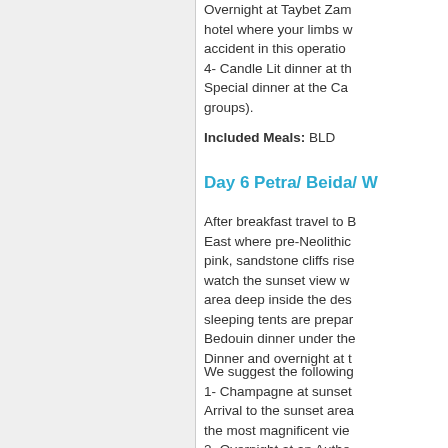Overnight at Taybet Zaman hotel where your limbs w... accident in this operation... 4- Candle Lit dinner at th... Special dinner at the Cav... groups).
Included Meals: BLD
Day 6 Petra/ Beida/ W...
After breakfast travel to B... East where pre-Neolithic... pink, sandstone cliffs rise... watch the sunset view w... area deep inside the des... sleeping tents are prepa... Bedouin dinner under the... Dinner and overnight at t...
We suggest the following... 1- Champagne at sunset... Arrival to the sunset area... the most magnificent vie... 2- Overnight at an Authe...